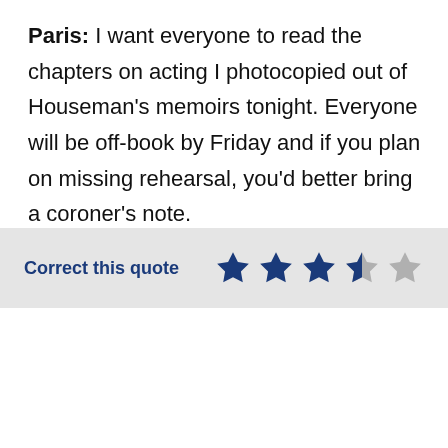Paris: I want everyone to read the chapters on acting I photocopied out of Houseman's memoirs tonight. Everyone will be off-book by Friday and if you plan on missing rehearsal, you'd better bring a coroner's note.
Correct this quote | ★★★½☆